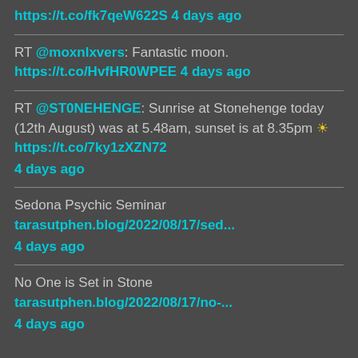https://t.co/fk7qeW622S 4 days ago
RT @moxnlxvers: Fantastic moon. https://t.co/HvfHR0WPEE 4 days ago
RT @ST0NEHENGE: Sunrise at Stonehenge today (12th August) was at 5.48am, sunset is at 8.35pm ☀ https://t.co/7ky1zXZN72 4 days ago
Sedona Psychic Seminar tarasutphen.blog/2022/08/17/sed... 4 days ago
No One is Set in Stone tarasutphen.blog/2022/08/17/no-... 4 days ago